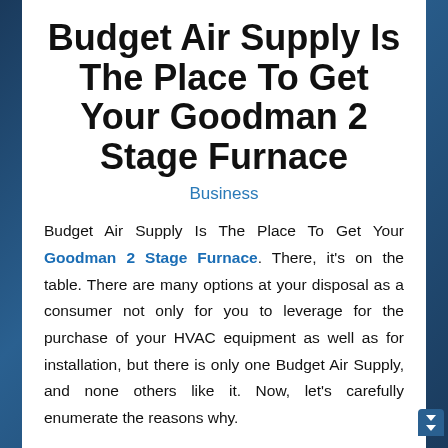Budget Air Supply Is The Place To Get Your Goodman 2 Stage Furnace
Business
Budget Air Supply Is The Place To Get Your Goodman 2 Stage Furnace. There, it's on the table. There are many options at your disposal as a consumer not only for you to leverage for the purchase of your HVAC equipment as well as for installation, but there is only one Budget Air Supply, and none others like it. Now, let's carefully enumerate the reasons why.